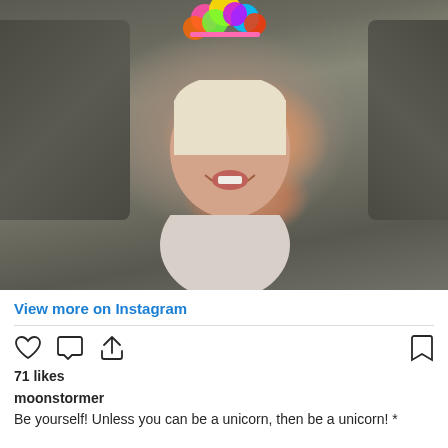[Figure (photo): A smiling toddler girl with blonde hair wearing a colorful unicorn headband, sitting on a floor with a dark gray sofa in the background.]
View more on Instagram
71 likes
moonstormer
Be yourself! Unless you can be a unicorn, then be a unicorn! *